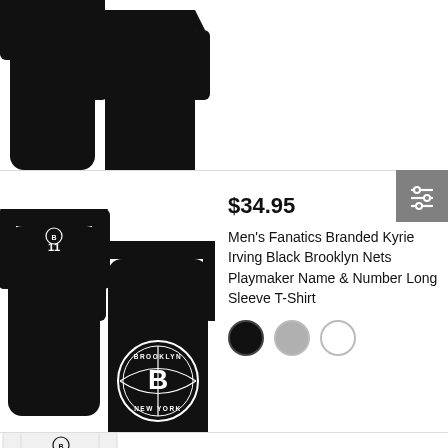[Figure (photo): Partial view of a black long sleeve t-shirt (back and front views), cropped at top]
[Figure (photo): Black Brooklyn Nets Kyrie Irving #11 long sleeve t-shirt, back showing IRVING vertically and front showing Brooklyn Nets logo]
$34.95
Men's Fanatics Branded Kyrie Irving Black Brooklyn Nets Playmaker Name & Number Long Sleeve T-Shirt
[Figure (other): Color swatches: black, gray, white]
[Figure (photo): White Brooklyn Nets Kevin Durant #7 long sleeve t-shirt, back showing DURANT vertically, partially cropped]
$34.95
Men's Fanatics Branded Kevin Durant White Brooklyn Nets